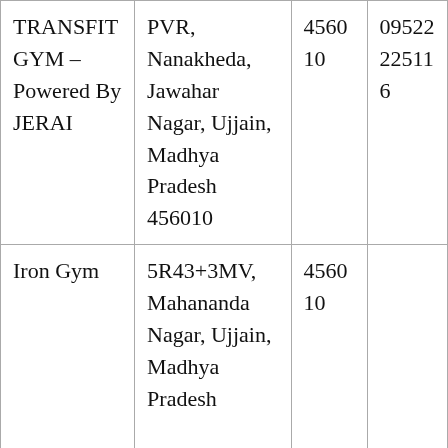| TRANSFIT GYM – Powered By JERAI | PVR, Nanakheda, Jawahar Nagar, Ujjain, Madhya Pradesh 456010 | 456010 | 0952225116 |
| Iron Gym | 5R43+3MV, Mahananda Nagar, Ujjain, Madhya Pradesh | 456010 |  |